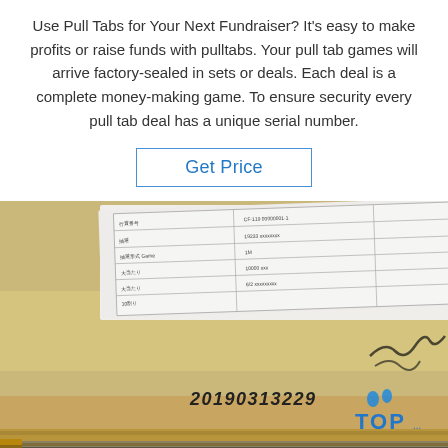Use Pull Tabs for Your Next Fundraiser? It's easy to make profits or raise funds with pulltabs. Your pull tab games will arrive factory-sealed in sets or deals. Each deal is a complete money-making game. To ensure security every pull tab deal has a unique serial number.
[Figure (other): Button/link styled element with text 'Get Price' in blue with a border box]
[Figure (photo): Close-up photograph of a factory-sealed pull tab deal box showing a label with a grid/table of information, a serial number '20190313229' printed on the side of the box, and a 'TOP' watermark logo in the lower right corner.]